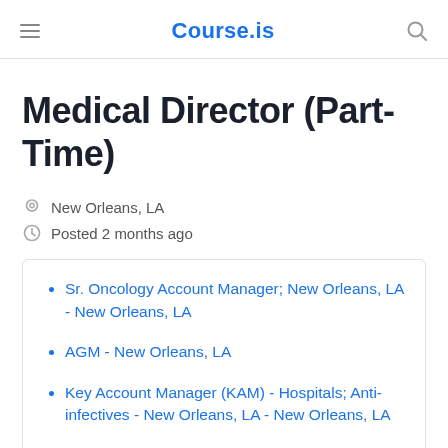Course.is
Medical Director (Part-Time)
New Orleans, LA
Posted 2 months ago
Sr. Oncology Account Manager; New Orleans, LA - New Orleans, LA
AGM - New Orleans, LA
Key Account Manager (KAM) - Hospitals; Anti-infectives - New Orleans, LA - New Orleans, LA